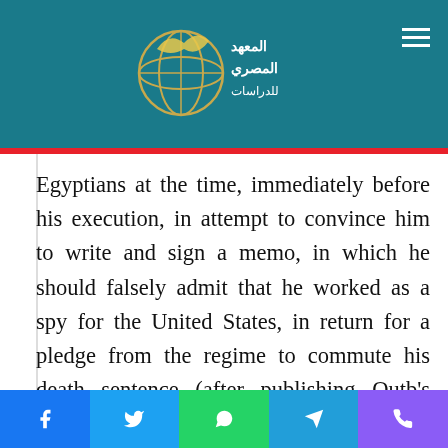Al-Masri Institute for Studies (logo and navigation)
Qutb, sister of Sayyid Qutb, a thinker and author who was detained along with many other Egyptians at the time, immediately before his execution, in attempt to convince him to write and sign a memo, in which he should falsely admit that he worked as a spy for the United States, in return for a pledge from the regime to commute his death sentence (after publishing Qutb's fake confession in pro-regime
Social share bar: Facebook, Twitter, WhatsApp, Telegram, Phone